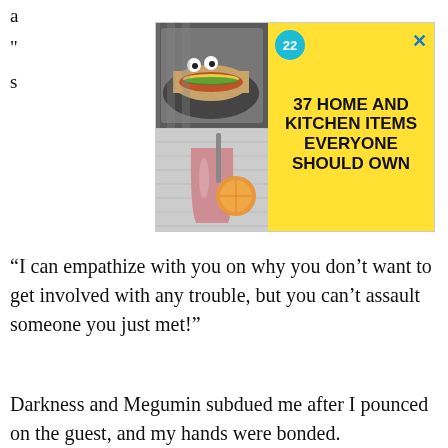a
[Figure (other): Advertisement banner: yellow background with food images on left (hot dogs with googly eyes, beverage cup with fruits) and bold black text '37 HOME AND KITCHEN ITEMS EVERYONE SHOULD OWN' with a teal badge showing '22' and a blue X close button.]
“I can empathize with you on why you don’t want to get involved with any trouble, but you can’t assault someone you just met!”
Darkness and Megumin subdued me after I pounced on the guest, and my hands were bonded.
The visitor was a man dressed like a butler, about fifty years of age.
He panted hard as he watched Aqua and me